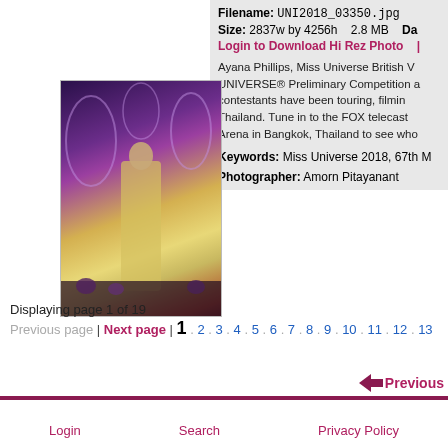Filename: UNI2018_03350.jpg
Size: 2837w by 4256h   2.8 MB   Da...
Login to Download Hi Rez Photo   |
[Figure (photo): Photo of Ayana Phillips, Miss Universe British Virgin Islands, performing at Miss Universe 2018 Preliminary Competition in Bangkok, Thailand. She is wearing a sparkly outfit on stage with purple decorative background.]
Ayana Phillips, Miss Universe British V... UNIVERSE® Preliminary Competition a... contestants have been touring, filmin... Thailand. Tune in to the FOX telecast... Arena in Bangkok, Thailand to see who...
Keywords: Miss Universe 2018, 67th M...
Photographer: Amorn Pitayanant
Displaying page 1 of 19
Previous page | Next page | 1 . 2 . 3 . 4 . 5 . 6 . 7 . 8 . 9 . 10 . 11 . 12 . 13...
◄ Previous
Login   Search   Privacy Policy